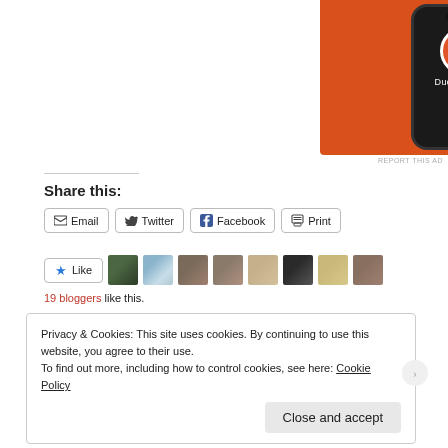[Figure (illustration): DuckDuckGo advertisement showing a smartphone with the DuckDuckGo logo on an orange background]
REPORT THIS AD
Share this:
Email  Twitter  Facebook  Print
Like
19 bloggers like this.
Privacy & Cookies: This site uses cookies. By continuing to use this website, you agree to their use.
To find out more, including how to control cookies, see here: Cookie Policy
Close and accept